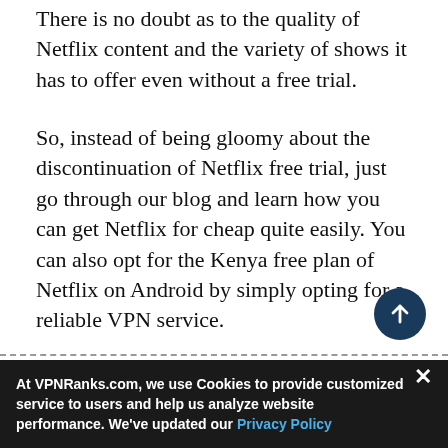There is no doubt as to the quality of Netflix content and the variety of shows it has to offer even without a free trial.
So, instead of being gloomy about the discontinuation of Netflix free trial, just go through our blog and learn how you can get Netflix for cheap quite easily. You can also opt for the Kenya free plan of Netflix on Android by simply opting for a reliable VPN service.
If you're interested in checking out more best VPNs that offer free trials or 30-day refund policies, go and check out our list of major VPNs with free trials.
At VPNRanks.com, we use Cookies to provide customized service to users and help us analyze website performance. We've updated our Privacy Policy